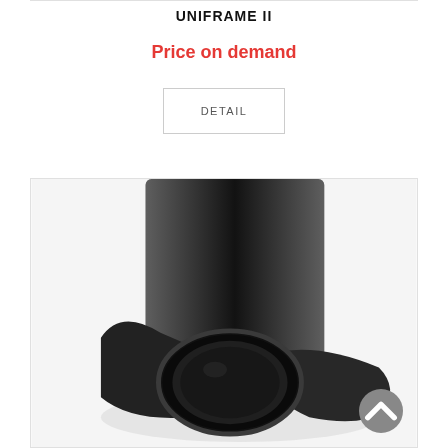UNIFRAME II
Price on demand
DETAIL
[Figure (photo): Close-up product photo of a black mechanical device (UNIFRAME II) with a square black panel on top and a circular lens/aperture element at the bottom, all matte and glossy black finish.]